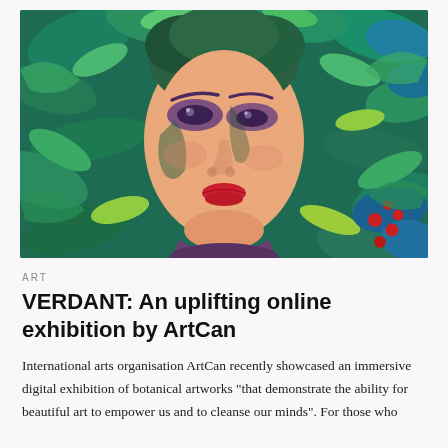[Figure (illustration): Expressionist painting of a woman's face surrounded by lush green tropical leaves and botanical foliage. The face has purple-shadowed eyes, red lips, and peach-toned skin. The background is filled with teal, green, and blue leaves with red berries visible on the right side.]
ART
VERDANT: An uplifting online exhibition by ArtCan
International arts organisation ArtCan recently showcased an immersive digital exhibition of botanical artworks "that demonstrate the ability for beautiful art to empower us and to cleanse our minds". For those who